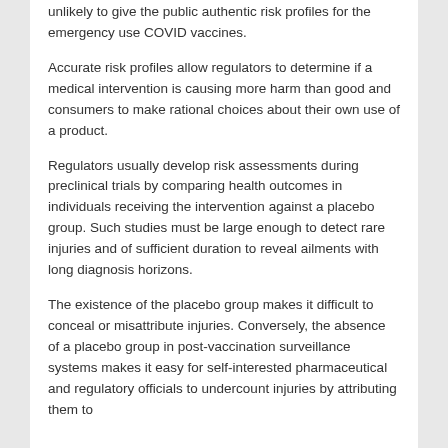unlikely to give the public authentic risk profiles for the emergency use COVID vaccines.
Accurate risk profiles allow regulators to determine if a medical intervention is causing more harm than good and consumers to make rational choices about their own use of a product.
Regulators usually develop risk assessments during preclinical trials by comparing health outcomes in individuals receiving the intervention against a placebo group. Such studies must be large enough to detect rare injuries and of sufficient duration to reveal ailments with long diagnosis horizons.
The existence of the placebo group makes it difficult to conceal or misattribute injuries. Conversely, the absence of a placebo group in post-vaccination surveillance systems makes it easy for self-interested pharmaceutical and regulatory officials to undercount injuries by attributing them to